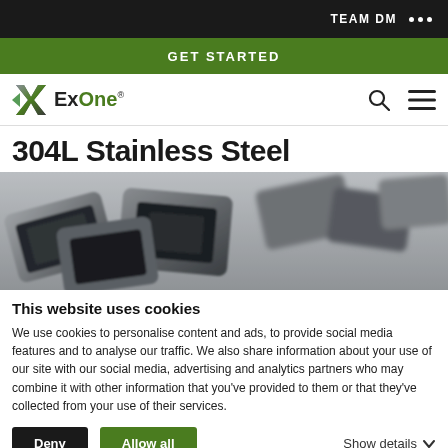TEAM DM ···
GET STARTED
[Figure (logo): ExOne company logo with X graphic mark and green/grey text]
304L Stainless Steel
[Figure (photo): Close-up grayscale photo of 3D-printed stainless steel metal parts with complex geometry]
This website uses cookies
We use cookies to personalise content and ads, to provide social media features and to analyse our traffic. We also share information about your use of our site with our social media, advertising and analytics partners who may combine it with other information that you've provided to them or that they've collected from your use of their services.
Deny | Allow all | Show details